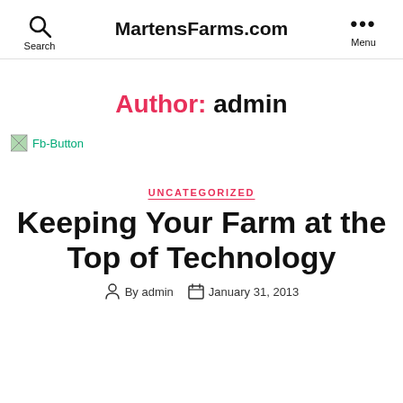MartensFarms.com
Author: admin
[Figure (other): Broken image placeholder labeled Fb-Button]
UNCATEGORIZED
Keeping Your Farm at the Top of Technology
By admin   January 31, 2013